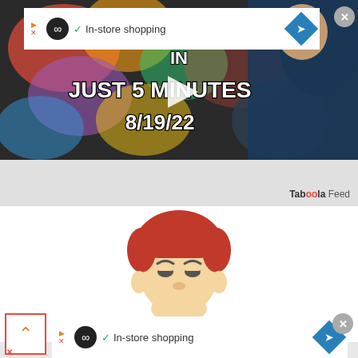[Figure (screenshot): Video thumbnail with colorful background showing text 'IN JUST 5 MINUTES 8/19/22' with a man in a blue hoodie and a play button overlay]
[Figure (screenshot): Ad banner with infinity logo, checkmark, 'In-store shopping' text and blue arrow diamond icon]
Taboola Feed
[Figure (illustration): Cartoon illustration of a sad-looking boy with red hair and light blue shirt]
[Figure (screenshot): Bottom ad banner with infinity logo, checkmark, 'In-store shopping' text and blue arrow diamond icon]
[Figure (screenshot): Collapse button with orange caret up arrow in red border box]